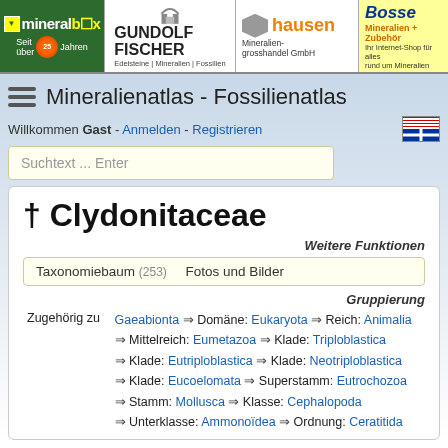[Figure (logo): Mineralbox ad banner - Seit über 25 Jahren]
[Figure (logo): Gundolf Fischer - Edelsteine | Mineralien | Fossilien]
[Figure (logo): hausen Mineraliengrosshandel GmbH]
[Figure (logo): Bosse Mineralien + Zubehör - Ihr Internet-Shop für alles rund um Mineralien]
Mineralienatlas - Fossilienatlas
Willkommen Gast - Anmelden - Registrieren
Suchtext ... Enter
† Clydonitaceae
Weitere Funktionen
Taxonomiebaum (253)    Fotos und Bilder
Gruppierung
Zugehörig zu  Gaeabionta ⇒ Domäne: Eukaryota ⇒ Reich: Animalia ⇒ Mittelreich: Eumetazoa ⇒ Klade: Triploblastica ⇒ Klade: Eutriploblastica ⇒ Klade: Neotriploblastica ⇒ Klade: Eucoelomata ⇒ Superstamm: Eutrochozoa ⇒ Stamm: Mollusca ⇒ Klasse: Cephalopoda ⇒ Unterklasse: Ammonoïdea ⇒ Ordnung: Ceratitida